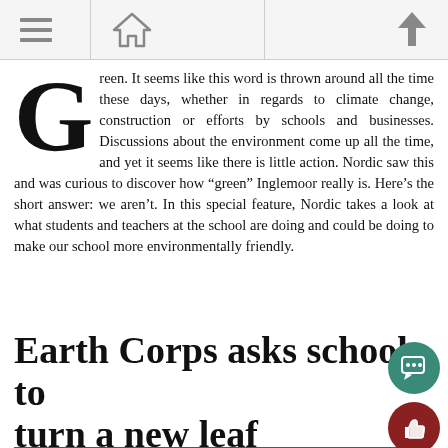[Navigation bar with menu, home, and up icons]
Green. It seems like this word is thrown around all the time these days, whether in regards to climate change, construction or efforts by schools and businesses. Discussions about the environment come up all the time, and yet it seems like there is little action. Nordic saw this and was curious to discover how “green” Inglemoor really is. Here’s the short answer: we aren’t. In this special feature, Nordic takes a look at what students and teachers at the school are doing and could be doing to make our school more environmentally friendly.
Earth Corps asks school to turn a new leaf